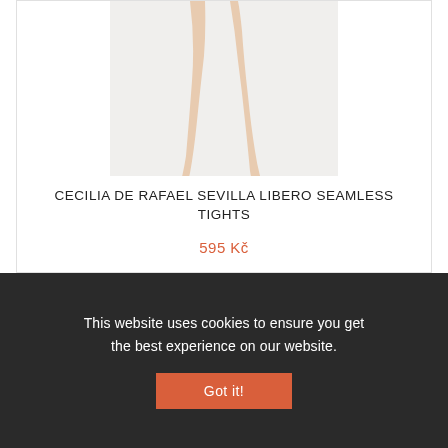[Figure (photo): Product photo of legs wearing seamless tights with black high heels, on white background]
CECILIA DE RAFAEL SEVILLA LIBERO SEAMLESS TIGHTS
595 Kč
This website uses cookies to ensure you get the best experience on our website.
Got it!